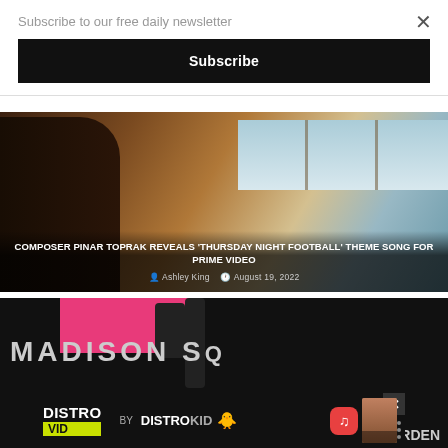Subscribe to our free daily newsletter
Subscribe
[Figure (photo): Woman with long hair seen from behind near windows, article thumbnail for Thursday Night Football theme song story]
COMPOSER PINAR TOPRAK REVEALS 'THURSDAY NIGHT FOOTBALL' THEME SONG FOR PRIME VIDEO
Ashley King  August 19, 2022
[Figure (photo): Dark image showing Madison Square Garden sign with pink background block, with DistroVid by DistroKid advertisement banner overlay]